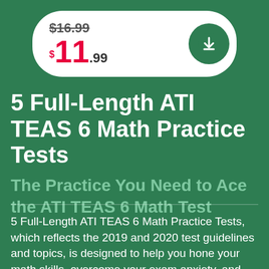[Figure (infographic): Price box showing original price $16.99 struck through and sale price $11.99 in red, with a green circular download button on the right]
5 Full-Length ATI TEAS 6 Math Practice Tests
The Practice You Need to Ace the ATI TEAS 6 Math Test
5 Full-Length ATI TEAS 6 Math Practice Tests, which reflects the 2019 and 2020 test guidelines and topics, is designed to help you hone your math skills, overcome your exam anxiety, and boost your confidence -- and do your best to ace